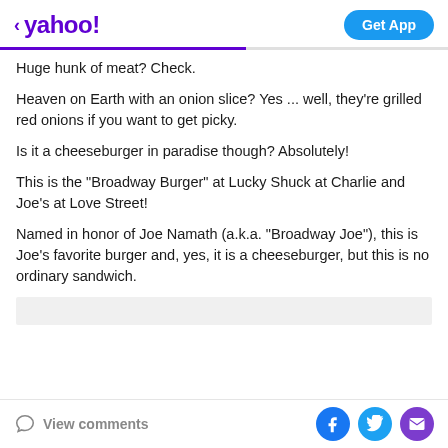< yahoo!  Get App
Huge hunk of meat? Check.
Heaven on Earth with an onion slice? Yes ... well, they're grilled red onions if you want to get picky.
Is it a cheeseburger in paradise though? Absolutely!
This is the "Broadway Burger" at Lucky Shuck at Charlie and Joe's at Love Street!
Named in honor of Joe Namath (a.k.a. "Broadway Joe"), this is Joe's favorite burger and, yes, it is a cheeseburger, but this is no ordinary sandwich.
View comments